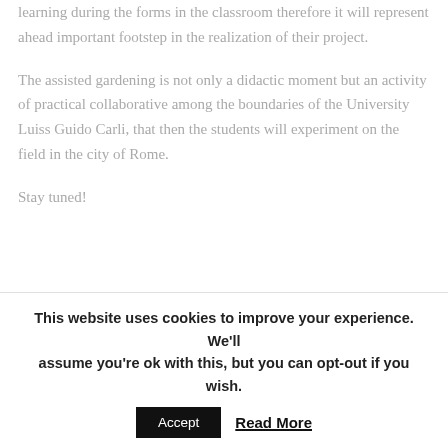learning during the forms in the classroom therefore it will represent ahead important footstep in the realization of their project.
The assisted gardening is not only a didactic moment but an activity of practical collaborative among the boundaries of the University Luiss Guido Carli, that then the students will experiment on the field in the city of Rome.
Stay tuned!
[Figure (photo): Outdoor photo showing people (students) working in a garden area with trees and green foliage in the background, with a vertical dark wooden post visible.]
This website uses cookies to improve your experience. We'll assume you're ok with this, but you can opt-out if you wish.